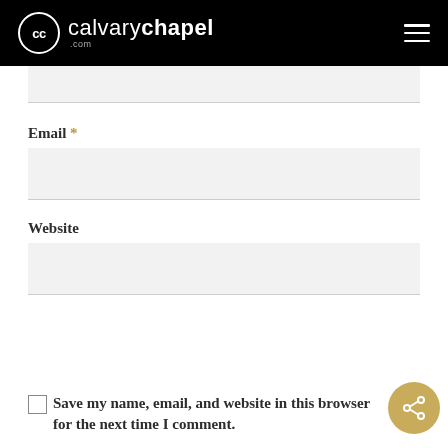calvarychapel.com
Email *
Website
Save my name, email, and website in this browser for the next time I comment.